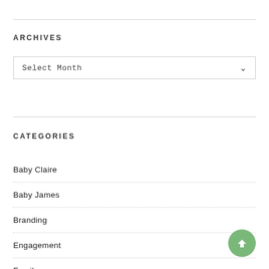ARCHIVES
Select Month
CATEGORIES
Baby Claire
Baby James
Branding
Engagement
Family